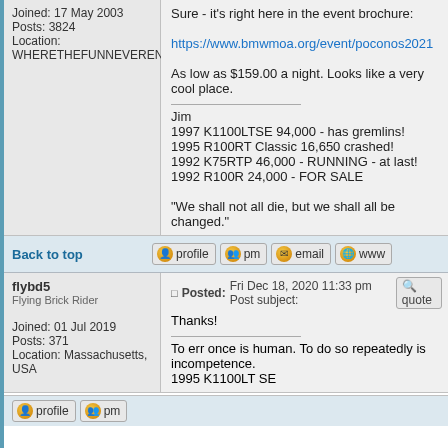Joined: 17 May 2003
Posts: 3824
Location: WHERETHEFUNNEVERENDS
Sure - it's right here in the event brochure:

https://www.bmwmoa.org/event/poconos2021

As low as $159.00 a night. Looks like a very cool place.

Jim
1997 K1100LTSE 94,000 - has gremlins!
1995 R100RT Classic 16,650 crashed!
1992 K75RTP 46,000 - RUNNING - at last!
1992 R100R 24,000 - FOR SALE

"We shall not all die, but we shall all be changed."
Back to top
flybd5
Flying Brick Rider

Joined: 01 Jul 2019
Posts: 371
Location: Massachusetts, USA
Posted: Fri Dec 18, 2020 11:33 pm    Post subject:

Thanks!

To err once is human. To do so repeatedly is incompetence.
1995 K1100LT SE